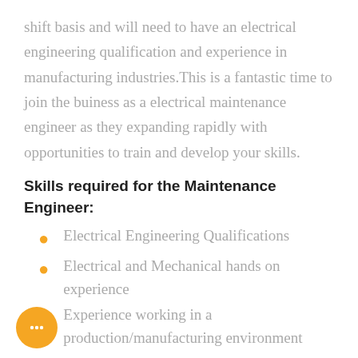shift basis and will need to have an electrical engineering qualification and experience in manufacturing industries.This is a fantastic time to join the buiness as a electrical maintenance engineer as they expanding rapidly with opportunities to train and develop your skills.
Skills required for the Maintenance Engineer:
Electrical Engineering Qualifications
Electrical and Mechanical hands on experience
Experience working in a production/manufacturing environment
Electrical work on 3phase, invertors, rectifiers, motors, relays, sensors, drives
Mechanical work on gearboxes, belts, bearings